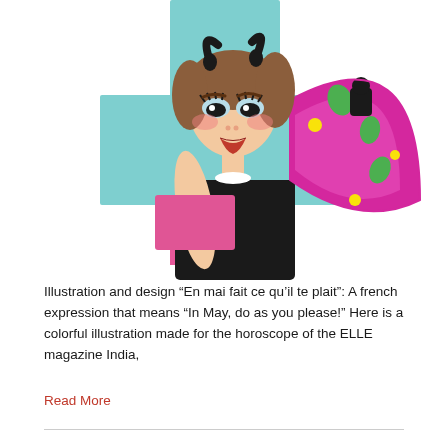[Figure (illustration): Colorful cartoon illustration of a stylized woman with bull horns (Taurus zodiac), wearing a black dress and holding a large magenta/pink decorative fan with green and yellow swirl patterns. Background features teal/light blue geometric cross shape. Character has brown hair, dramatic makeup with rosy cheeks and red lips.]
Illustration and design “En mai fait ce qu’il te plait”: A french expression that means “In May, do as you please!” Here is a colorful illustration made for the horoscope of the ELLE magazine India,
Read More